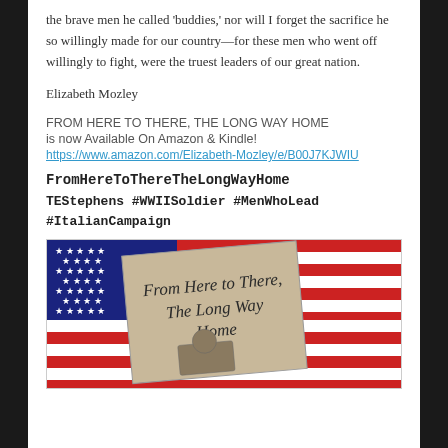the brave men he called 'buddies,' nor will I forget the sacrifice he so willingly made for our country—for these men who went off willingly to fight, were the truest leaders of our great nation.
Elizabeth Mozley
FROM HERE TO THERE, THE LONG WAY HOME
is now Available On Amazon & Kindle!
https://www.amazon.com/Elizabeth-Mozley/e/B00J7KJWIU
FromHereToThereTheLongWayHome
TEStephens #WWIISoldier #MenWhoLead #ItalianCampaign
[Figure (photo): Book cover of 'From Here to There, The Long Way Home' set against an American flag background with red and white stripes and stars, with a soldier image on the cover.]